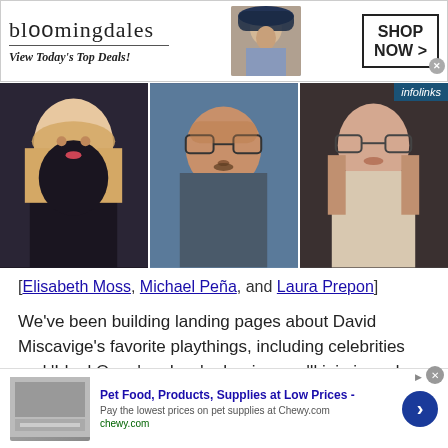[Figure (photo): Bloomingdales advertisement banner with logo, model wearing hat, and 'SHOP NOW >' button]
[Figure (photo): Photo strip showing three people: a blonde woman, a man with glasses and facial hair, and a woman with glasses and dark hair]
[Elisabeth Moss, Michael Peña, and Laura Prepon]
We've been building landing pages about David Miscavige's favorite playthings, including celebrities and 'Ideal Orgs,' and we're hoping you'll join in and help us gather as much information as [n about them. Head on over and help us with
[Figure (photo): Chewy.com advertisement: Pet Food, Products, Supplies at Low Prices - Pay the lowest prices on pet supplies at Chewy.com]